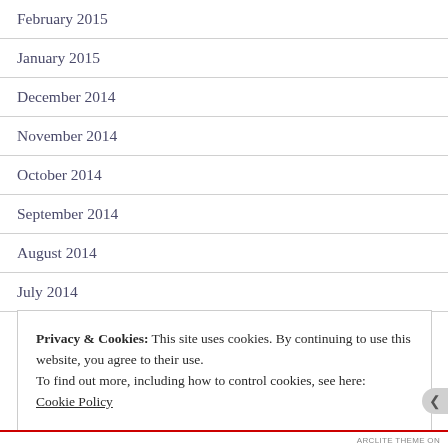February 2015
January 2015
December 2014
November 2014
October 2014
September 2014
August 2014
July 2014
June 2014
Privacy & Cookies: This site uses cookies. By continuing to use this website, you agree to their use.
To find out more, including how to control cookies, see here:
Cookie Policy
Close and accept
ARCLITE THEME ON